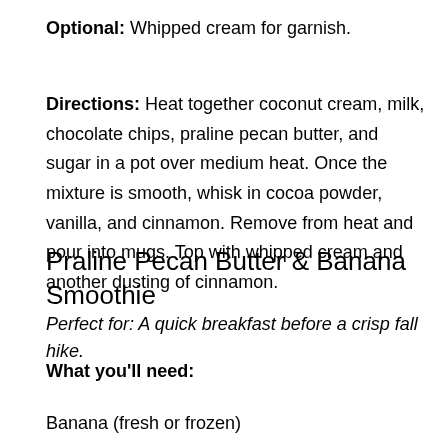Optional: Whipped cream for garnish.
Directions: Heat together coconut cream, milk, chocolate chips, praline pecan butter, and sugar in a pot over medium heat. Once the mixture is smooth, whisk in cocoa powder, vanilla, and cinnamon. Remove from heat and pour into mugs. Top with whipped cream and another dusting of cinnamon.
Praline Pecan Butter & Banana Smoothie
Perfect for: A quick breakfast before a crisp fall hike.
What you'll need:
Banana (fresh or frozen)